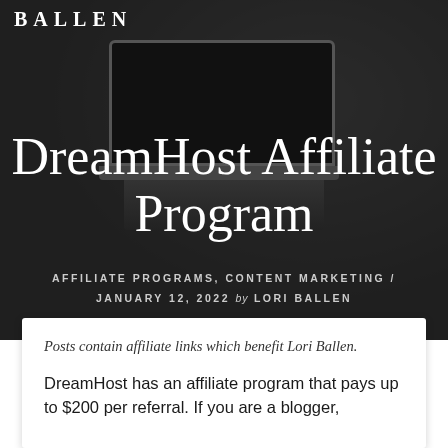BALLEN
DreamHost Affiliate Program
AFFILIATE PROGRAMS, CONTENT MARKETING / JANUARY 12, 2022 by LORI BALLEN
[Figure (photo): Dark background photo of a laptop on a desk with office supplies, overlaid with dark semi-transparent overlay]
Posts contain affiliate links which benefit Lori Ballen.
DreamHost has an affiliate program that pays up to $200 per referral. If you are a blogger,